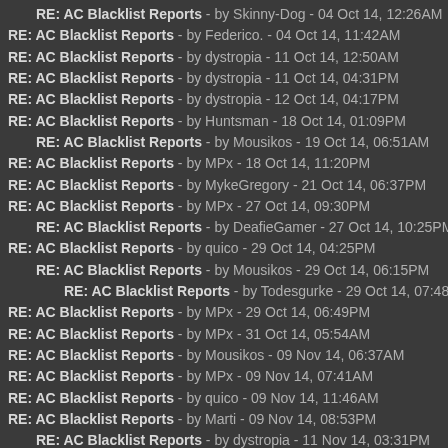RE: AC Blacklist Reports - by Skinny-Dog - 04 Oct 14, 12:26AM
RE: AC Blacklist Reports - by Federico. - 04 Oct 14, 11:42AM
RE: AC Blacklist Reports - by dystropia - 11 Oct 14, 12:50AM
RE: AC Blacklist Reports - by dystropia - 11 Oct 14, 04:31PM
RE: AC Blacklist Reports - by dystropia - 12 Oct 14, 04:17PM
RE: AC Blacklist Reports - by Huntsman - 18 Oct 14, 01:09PM
RE: AC Blacklist Reports - by Mousikos - 19 Oct 14, 06:51AM
RE: AC Blacklist Reports - by MPx - 18 Oct 14, 11:20PM
RE: AC Blacklist Reports - by MykeGregory - 21 Oct 14, 06:37PM
RE: AC Blacklist Reports - by MPx - 27 Oct 14, 09:30PM
RE: AC Blacklist Reports - by DeafieGamer - 27 Oct 14, 10:25PM
RE: AC Blacklist Reports - by quico - 29 Oct 14, 04:25PM
RE: AC Blacklist Reports - by Mousikos - 29 Oct 14, 06:15PM
RE: AC Blacklist Reports - by Todesgurke - 29 Oct 14, 07:48PM
RE: AC Blacklist Reports - by MPx - 29 Oct 14, 06:49PM
RE: AC Blacklist Reports - by MPx - 31 Oct 14, 05:54AM
RE: AC Blacklist Reports - by Mousikos - 09 Nov 14, 06:37AM
RE: AC Blacklist Reports - by MPx - 09 Nov 14, 07:41AM
RE: AC Blacklist Reports - by quico - 09 Nov 14, 11:46AM
RE: AC Blacklist Reports - by Marti - 09 Nov 14, 08:53PM
RE: AC Blacklist Reports - by dystropia - 11 Nov 14, 03:31PM
RE: AC Blacklist Reports - by DeafieGamer - 11 Nov 14, 06:50PM
RE: AC Blacklist Reports - by dystropia - 12 Nov 14, 01:54PM
RE: AC Blacklist Reports - by Elite - 12 Nov 14, 10:36PM
RE: AC Blacklist Reports - by Mousikos - 13 Nov 14, 01:42AM